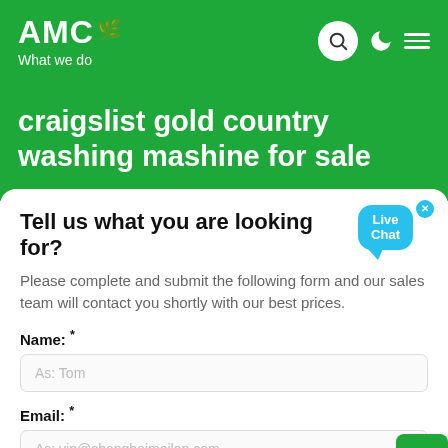AMC
What we do
craigslist gold country washing mashine for sale
Tell us what you are looking for?
Please complete and submit the following form and our sales team will contact you shortly with our best prices.
Name: *
As: Tom
Email: *
As: vip@shanghaimeilan.com
Phone: *